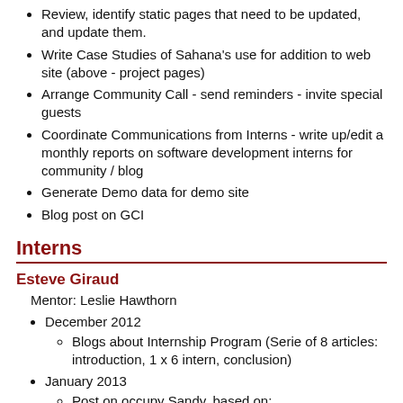Review, identify static pages that need to be updated, and update them.
Write Case Studies of Sahana's use for addition to web site (above - project pages)
Arrange Community Call - send reminders - invite special guests
Coordinate Communications from Interns - write up/edit a monthly reports on software development interns for community / blog
Generate Demo data for demo site
Blog post on GCI
Interns
Esteve Giraud
Mentor: Leslie Hawthorn
December 2012
Blogs about Internship Program (Serie of 8 articles: introduction, 1 x 6 intern, conclusion)
January 2013
Post on occupy Sandy, based on: